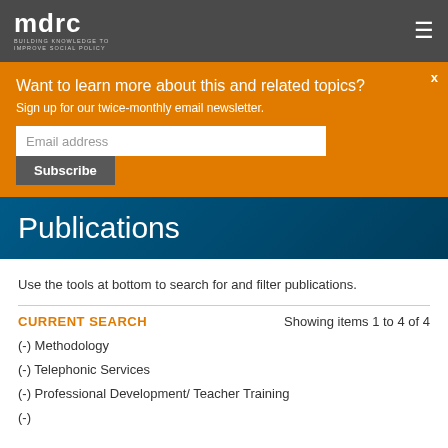mdrc BUILDING KNOWLEDGE TO IMPROVE SOCIAL POLICY
Want to learn more about this and related topics? Sign up for our twice-monthly email newsletter.
Email address
Subscribe
Publications
Use the tools at bottom to search for and filter publications.
CURRENT SEARCH
Showing items 1 to 4 of 4
(-) Methodology
(-) Telephonic Services
(-) Professional Development/ Teacher Training